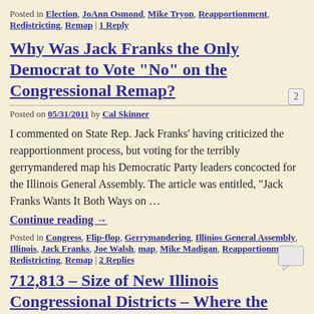Posted in Election, JoAnn Osmond, Mike Tryon, Reapportionment, Redistricting, Remap | 1 Reply
Why Was Jack Franks the Only Democrat to Vote “No” on the Congressional Remap?
Posted on 05/31/2011 by Cal Skinner
I commented on State Rep. Jack Franks’ having criticized the reapportionment process, but voting for the terribly gerrymandered map his Democratic Party leaders concocted for the Illinois General Assembly. The article was entitled, “Jack Franks Wants It Both Ways on …
Continue reading →
Posted in Congress, Flip-flop, Gerrymandering, Illinios General Assembly, Illinois, Jack Franks, Joe Walsh, map, Mike Madigan, Reapportionment, Redistricting, Remap | 2 Replies
712,813 – Size of New Illinois Congressional Districts – Where the